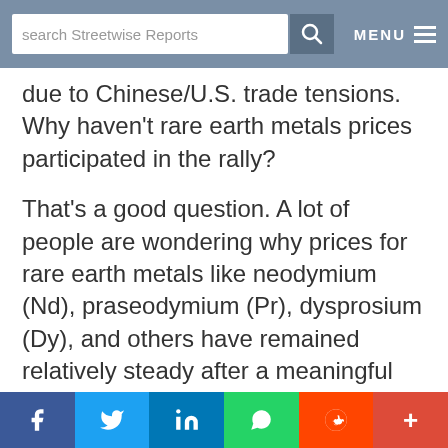search Streetwise Reports  MENU
due to Chinese/U.S. trade tensions. Why haven't rare earth metals prices participated in the rally?
That's a good question. A lot of people are wondering why prices for rare earth metals like neodymium (Nd), praseodymium (Pr), dysprosium (Dy), and others have remained relatively steady after a meaningful move higher in May/June. By now, most readers know that China dominates the global supply of REEs. They control more than 80% of the market. China can heavily influence prices. If
f  t  in  (whatsapp)  (reddit)  +